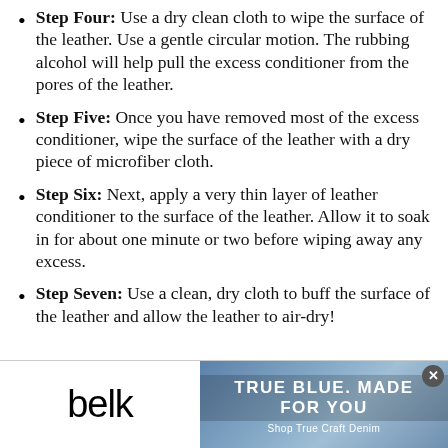Step Four: Use a dry clean cloth to wipe the surface of the leather. Use a gentle circular motion. The rubbing alcohol will help pull the excess conditioner from the pores of the leather.
Step Five: Once you have removed most of the excess conditioner, wipe the surface of the leather with a dry piece of microfiber cloth.
Step Six: Next, apply a very thin layer of leather conditioner to the surface of the leather. Allow it to soak in for about one minute or two before wiping away any excess.
Step Seven: Use a clean, dry cloth to buff the surface of the leather and allow the leather to air-dry!
[Figure (infographic): Advertisement banner for Belk denim. Left side shows 'belk' logo in black on white background. Right side shows blue denim fabric texture with text 'TRUE BLUE. MADE FOR YOU' and 'Shop True Craft Denim'. A close button (X) appears in the top-right corner.]